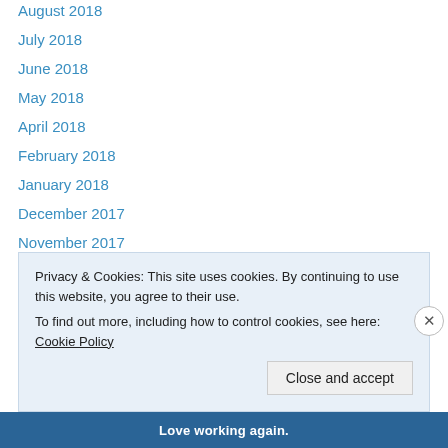August 2018
July 2018
June 2018
May 2018
April 2018
February 2018
January 2018
December 2017
November 2017
October 2017
September 2017
August 2017
July 2017
June 2017
Privacy & Cookies: This site uses cookies. By continuing to use this website, you agree to their use.
To find out more, including how to control cookies, see here: Cookie Policy
Love working again.